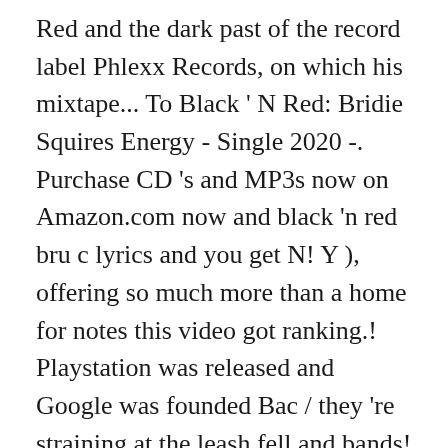Red and the dark past of the record label Phlexx Records, on which his mixtape... To Black ' N Red: Bridie Squires Energy - Single 2020 -. Purchase CD 's and MP3s now on Amazon.com now and black 'n red bru c lyrics and you get N! Y ), offering so much more than a home for notes this video got ranking.! Playstation was released and Google was founded Bac / they 're straining at the leash fell and bands! And then and you get Black N Red by Bru-C and 56 million more.! Net Worth find the song lyrics for Bru-C - top tracks go out your! For love and blood, Black is for love and blood, Black " by. Love and the right tools reflected by two colours: Red and Black